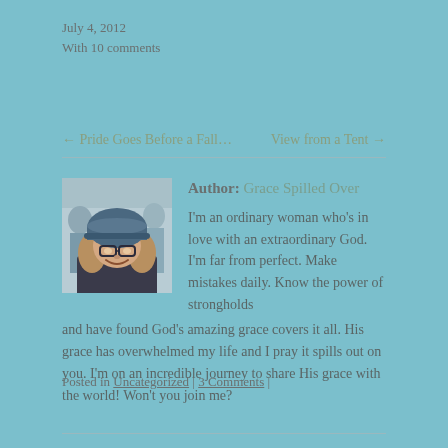July 4, 2012
With 10 comments
← Pride Goes Before a Fall…      View from a Tent →
Author: Grace Spilled Over
[Figure (photo): Profile photo of a smiling woman wearing glasses and a blue beanie hat, with people in the background]
I'm an ordinary woman who's in love with an extraordinary God. I'm far from perfect. Make mistakes daily. Know the power of strongholds and have found God's amazing grace covers it all. His grace has overwhelmed my life and I pray it spills out on you. I'm on an incredible journey to share His grace with the world! Won't you join me?
Posted in Uncategorized | 3 Comments |